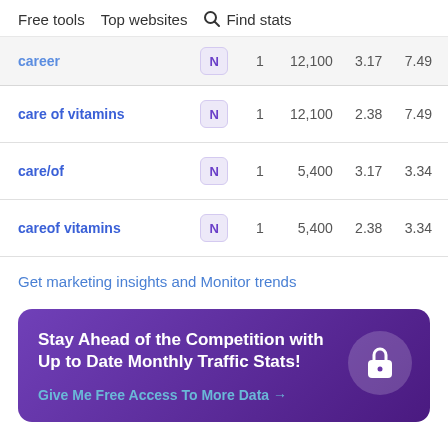Free tools   Top websites   Find stats
| Keyword | N | Pos | Volume | CPC | Comp |
| --- | --- | --- | --- | --- | --- |
| career | N | 1 | 12,100 | 3.17 | 7.49 |
| care of vitamins | N | 1 | 12,100 | 2.38 | 7.49 |
| care/of | N | 1 | 5,400 | 3.17 | 3.34 |
| careof vitamins | N | 1 | 5,400 | 2.38 | 3.34 |
Get marketing insights and Monitor trends
Stay Ahead of the Competition with Up to Date Monthly Traffic Stats! Give Me Free Access To More Data →